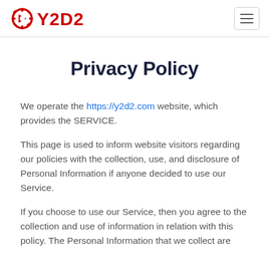Y2D2 logo and navigation
Privacy Policy
We operate the https://y2d2.com website, which provides the SERVICE.
This page is used to inform website visitors regarding our policies with the collection, use, and disclosure of Personal Information if anyone decided to use our Service.
If you choose to use our Service, then you agree to the collection and use of information in relation with this policy. The Personal Information that we collect are used...